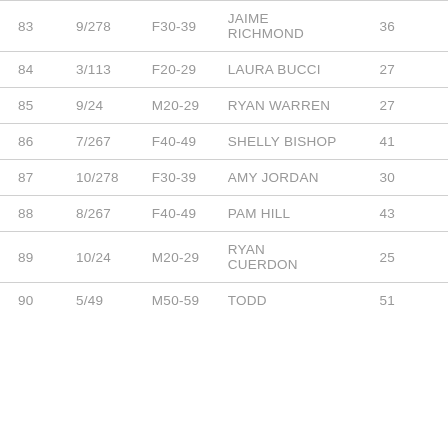| # | Division Rank | Category | Name | Age |
| --- | --- | --- | --- | --- |
| 83 | 9/278 | F30-39 | JAIME RICHMOND | 36 |
| 84 | 3/113 | F20-29 | LAURA BUCCI | 27 |
| 85 | 9/24 | M20-29 | RYAN WARREN | 27 |
| 86 | 7/267 | F40-49 | SHELLY BISHOP | 41 |
| 87 | 10/278 | F30-39 | AMY JORDAN | 30 |
| 88 | 8/267 | F40-49 | PAM HILL | 43 |
| 89 | 10/24 | M20-29 | RYAN CUERDON | 25 |
| 90 | 5/49 | M50-59 | TODD | 51 |